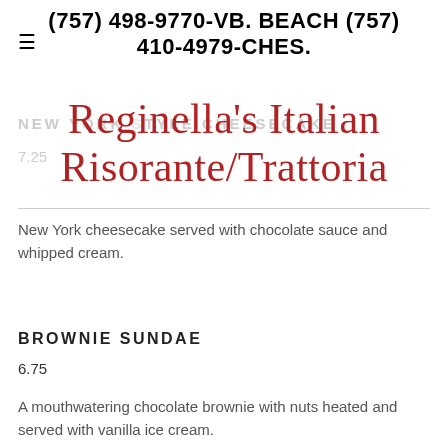(757) 498-9770-VB. BEACH (757) 410-4979-CHES.
Reginella's Italian Risorante/Trattoria
NEW YORK STYLE CHEESECAKE
7.25
New York cheesecake served with chocolate sauce and whipped cream.
BROWNIE SUNDAE
6.75
A mouthwatering chocolate brownie with nuts heated and served with vanilla ice cream.